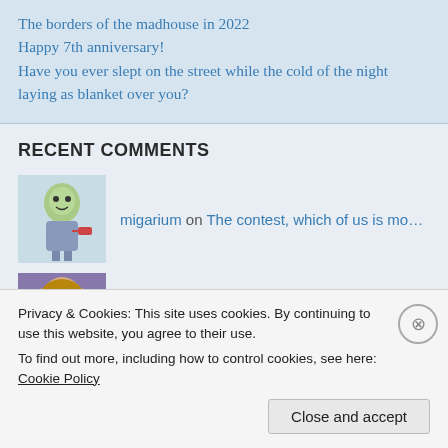The borders of the madhouse in 2022
Happy 7th anniversary!
Have you ever slept on the street while the cold of the night laying as blanket over you?
RECENT COMMENTS
migarium on The contest, which of us is mo…
S. Awan on The contest, which of us is mo…
migarium on The contest, which of us is mo…
migarium on The contest, which of us is mo…
Privacy & Cookies: This site uses cookies. By continuing to use this website, you agree to their use.
To find out more, including how to control cookies, see here: Cookie Policy
Close and accept